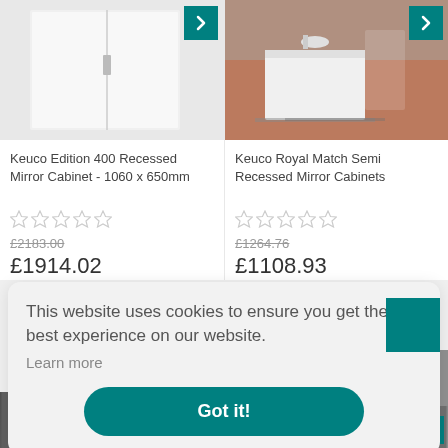[Figure (photo): Keuco Edition 400 Recessed Mirror Cabinet product photo, white cabinet on light background]
[Figure (photo): Keuco Royal Match Semi Recessed Mirror Cabinet product photo, white bathroom vanity unit in styled bathroom with orange floor]
Keuco Edition 400 Recessed Mirror Cabinet - 1060 x 650mm
Keuco Royal Match Semi Recessed Mirror Cabinets
£2183.00
£1914.02
£1264.76
£1108.93
This website uses cookies to ensure you get the best experience on our website.
Learn more
Got it!